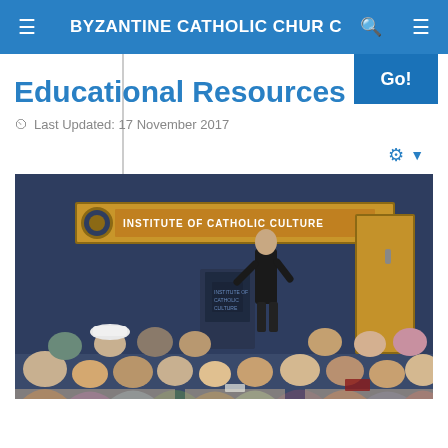BYZANTINE CATHOLIC CHURCH
Educational Resources
Last Updated: 17 November 2017
[Figure (photo): A speaker standing at a podium at the Institute of Catholic Culture, addressing a large seated audience in a conference room setting.]